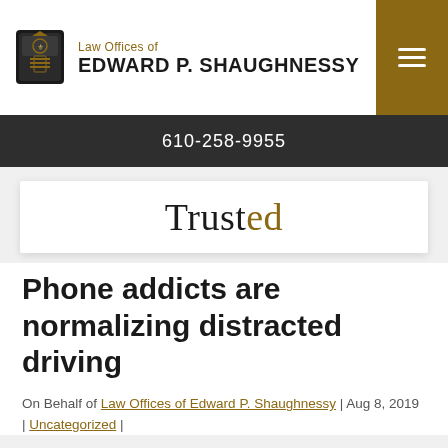Law Offices of EDWARD P. SHAUGHNESSY
610-258-9955
Trusted
Phone addicts are normalizing distracted driving
On Behalf of Law Offices of Edward P. Shaughnessy | Aug 8, 2019 | Uncategorized |